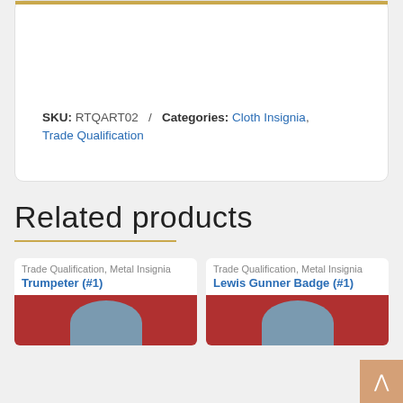SKU: RTQART02 / Categories: Cloth Insignia, Trade Qualification
Related products
Trade Qualification, Metal Insignia
Trumpeter (#1)
[Figure (photo): Product image for Trumpeter (#1) showing a metal badge on red background]
Trade Qualification, Metal Insignia
Lewis Gunner Badge (#1)
[Figure (photo): Product image for Lewis Gunner Badge (#1) showing a metal badge on red background]